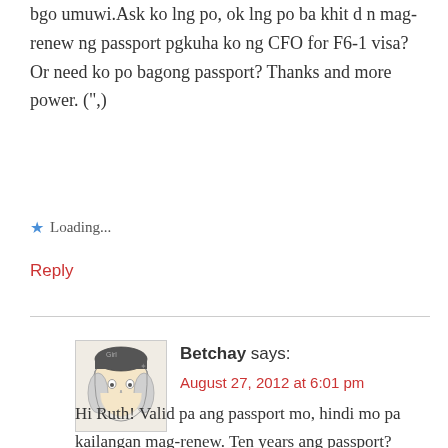bgo umuwi.Ask ko lng po, ok lng po ba khit d n mag-renew ng passport pgkuha ko ng CFO for F6-1 visa? Or need ko po bagong passport? Thanks and more power. (“,)
★ Loading...
Reply
[Figure (illustration): Avatar illustration of Betchay - cartoon face drawing]
Betchay says:
August 27, 2012 at 6:01 pm
Hi Ruth! Valid pa ang passport mo, hindi mo pa kailangan mag-renew. Ten years ang passport? Kailangan lang mag-renew ng passport kung mag-